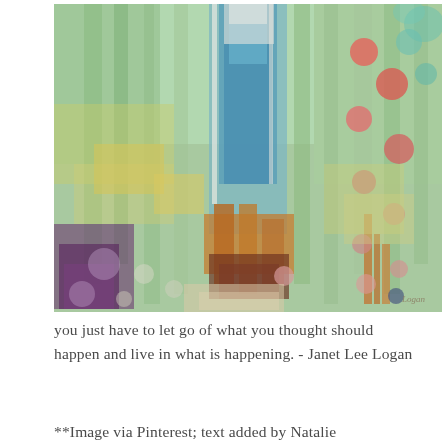[Figure (illustration): Abstract painting with a green, blue, orange, and purple color palette. Features vertical drips, circular dots in pink and red, and rectangular shapes. Style resembles a forest or garden scene in abstract watercolor/mixed media.]
you just have to let go of what you thought should happen and live in what is happening. - Janet Lee Logan
**Image via Pinterest; text added by Natalie